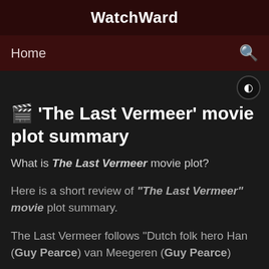WatchWard
Home
🎬 'The Last Vermeer' movie plot summary
What is The Last Vermeer movie plot?
Here is a short review of "The Last Vermeer" movie plot summary.
The Last Vermeer follows "Dutch folk hero Han (Guy Pearce) van Meegeren (Guy Pearce)